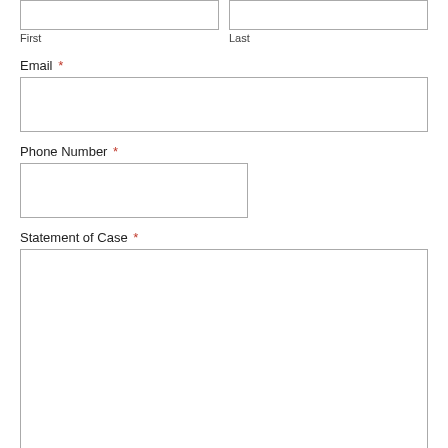First
Last
Email *
Phone Number *
Statement of Case *
SUBMIT